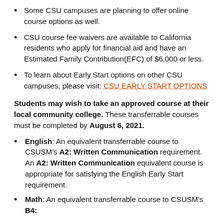Some CSU campuses are planning to offer online course options as well.
CSU course fee waivers are available to California residents who apply for financial aid and have an Estimated Family Contribution(EFC) of $6,000 or less.
To learn about Early Start options on other CSU campuses, please visit: CSU EARLY START OPTIONS
Students may wish to take an approved course at their local community college. These transferrable courses must be completed by August 6, 2021.
English: An equivalent transferrable course to CSUSM's A2: Written Communication requirement. An A2: Written Communication equivalent course is appropriate for satisfying the English Early Start requirement.
Math: An equivalent transferrable course to CSUSM's B4: